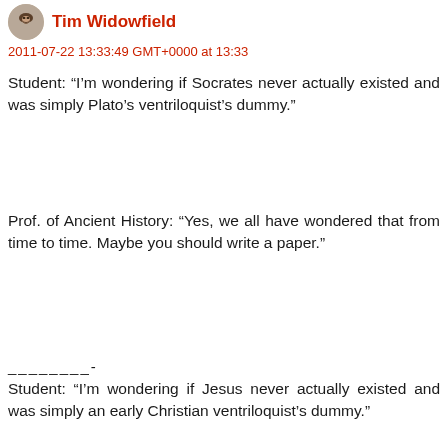Tim Widowfield
2011-07-22 13:33:49 GMT+0000 at 13:33
Student: “I’m wondering if Socrates never actually existed and was simply Plato’s ventriloquist’s dummy.”
Prof. of Ancient History: “Yes, we all have wondered that from time to time. Maybe you should write a paper.”
—————-
Student: “I’m wondering if Jesus never actually existed and was simply an early Christian ventriloquist’s dummy.”
Prof. of NT Studies: “Only an idiot would say that. Do you deny the Holocaust, too?”